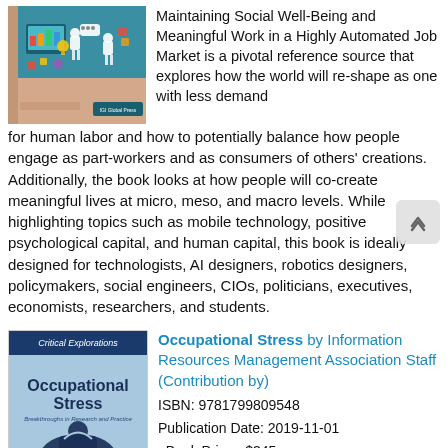[Figure (illustration): Book cover illustration showing a tech/automation themed image with robots, computers, and colorful design elements on a teal background]
Maintaining Social Well-Being and Meaningful Work in a Highly Automated Job Market is a pivotal reference source that explores how the world will re-shape as one with less demand for human labor and how to potentially balance how people engage as part-workers and as consumers of others' creations. Additionally, the book looks at how people will co-create meaningful lives at micro, meso, and macro levels. While highlighting topics such as mobile technology, positive psychological capital, and human capital, this book is ideally designed for technologists, AI designers, robotics designers, policymakers, social engineers, CIOs, politicians, executives, economists, researchers, and students.
[Figure (illustration): Book cover for 'Occupational Stress: Breakthroughs in Research and Practice' showing Critical Explorations series banner at top, book title in large text, subtitle below, and a silhouette of a stressed person at bottom on blue/light blue background]
Occupational Stress by Information Resources Management Association Staff (Contribution by)
ISBN: 9781799809548
Publication Date: 2019-11-01
eBook Price : $345